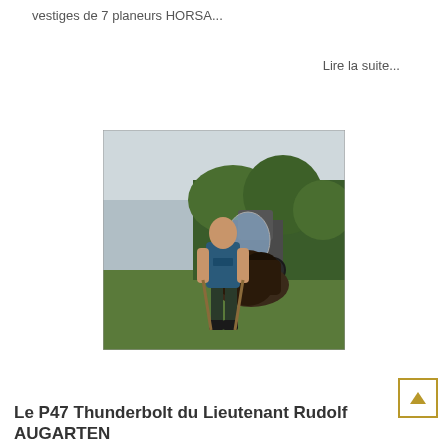vestiges de 7 planeurs HORSA...
Lire la suite...
[Figure (photo): A man in a blue Puma t-shirt and dark trousers stands in a field examining a large piece of dark metallic wreckage. Behind him is a tractor and dense green hedgerow. The scene appears to be an archaeological or recovery excavation in a rural setting.]
Le P47 Thunderbolt du Lieutenant Rudolf AUGARTEN